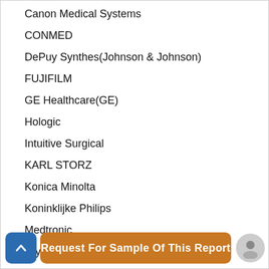Canon Medical Systems
CONMED
DePuy Synthes(Johnson & Johnson)
FUJIFILM
GE Healthcare(GE)
Hologic
Intuitive Surgical
KARL STORZ
Konica Minolta
Koninklijke Philips
Medtronic
Olympus
Siemens Healthineers
Request For Sample Of This Report